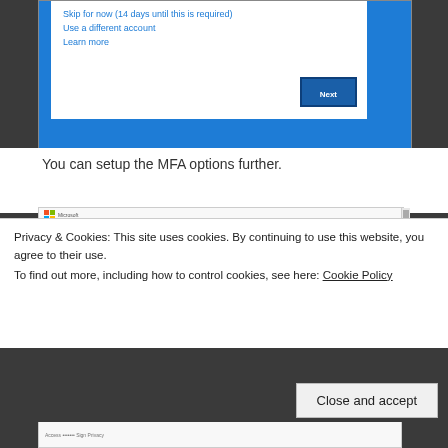[Figure (screenshot): Top portion of a Microsoft sign-in dialog with blue background. White dialog area shows links: 'Skip for now (14 days until this is required)', 'Use a different account', 'Learn more', and a 'Next' button.]
You can setup the MFA options further.
[Figure (screenshot): Screenshot of Microsoft 'Additional security verification' page showing Step 1: How should we contact you? with Authentication phone dropdown.]
Privacy & Cookies: This site uses cookies. By continuing to use this website, you agree to their use. To find out more, including how to control cookies, see here: Cookie Policy
Close and accept